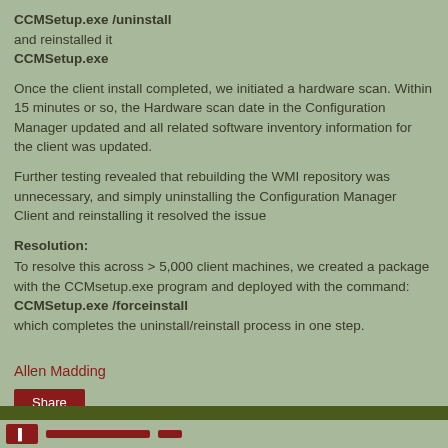CCMSetup.exe /uninstall and reinstalled it CCMSetup.exe
Once the client install completed, we initiated a hardware scan. Within 15 minutes or so, the Hardware scan date in the Configuration Manager updated and all related software inventory information for the client was updated.
Further testing revealed that rebuilding the WMI repository was unnecessary, and simply uninstalling the Configuration Manager Client and reinstalling it resolved the issue
Resolution:
To resolve this across > 5,000 client machines, we created a package with the CCMsetup.exe program and deployed with the command: CCMSetup.exe /forceinstall which completes the uninstall/reinstall process in one step.
Allen Madding
Share